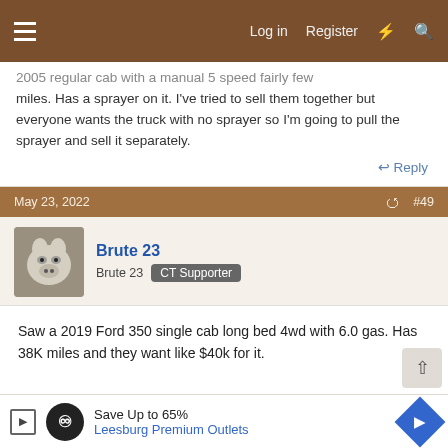Log in  Register
2005 regular cab with a manual 5 speed fairly few miles. Has a sprayer on it. I've tried to sell them together but everyone wants the truck with no sprayer so I'm going to pull the sprayer and sell it separately.
↩ Reply
May 23, 2022  #49
Brute 23
Brute 23  CT Supporter
Saw a 2019 Ford 350 single cab long bed 4wd with 6.0 gas. Has 38K miles and they want like $40k for it.
↩ Reply
Save Up to 65%  Leesburg Premium Outlets